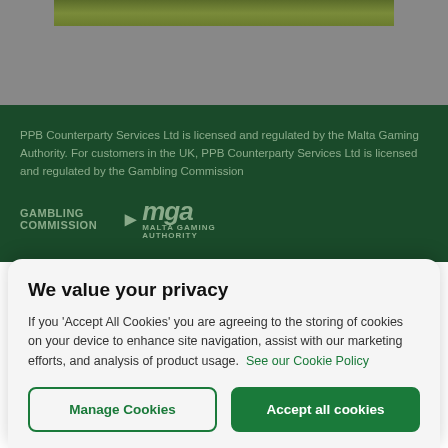[Figure (photo): Top portion of a sports field/pitch image (green grass texture), partially visible at top of page against gray background]
PPB Counterparty Services Ltd is licensed and regulated by the Malta Gaming Authority. For customers in the UK, PPB Counterparty Services Ltd is licensed and regulated by the Gambling Commission
[Figure (logo): Gambling Commission logo and Malta Gaming Authority (mga) logo side by side on dark green background]
We value your privacy
If you 'Accept All Cookies' you are agreeing to the storing of cookies on your device to enhance site navigation, assist with our marketing efforts, and analysis of product usage. See our Cookie Policy
Manage Cookies
Accept all cookies